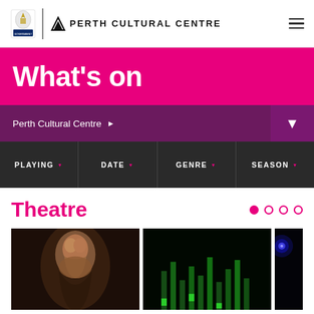Perth Cultural Centre
What's on
Perth Cultural Centre ▶
PLAYING   DATE   GENRE   SEASON
Theatre
[Figure (photo): Dark theatrical portrait of a young man looking upward]
[Figure (photo): Dark stage or music performance scene with green lighting elements]
[Figure (photo): Dark scene with blue circular light element visible at edge]